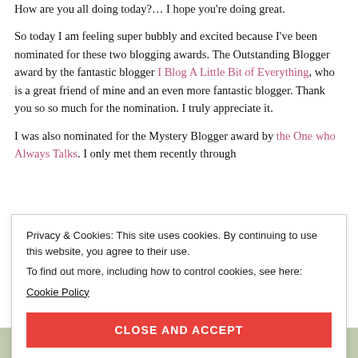How are you all doing today?... I hope you're doing great.
So today I am feeling super bubbly and excited because I've been nominated for these two blogging awards. The Outstanding Blogger award by the fantastic blogger I Blog A Little Bit of Everything, who is a great friend of mine and an even more fantastic blogger. Thank you so so much for the nomination. I truly appreciate it.
I was also nominated for the Mystery Blogger award by the One who Always Talks. I only met them recently through...
Privacy & Cookies: This site uses cookies. By continuing to use this website, you agree to their use.
To find out more, including how to control cookies, see here:
Cookie Policy
CLOSE AND ACCEPT